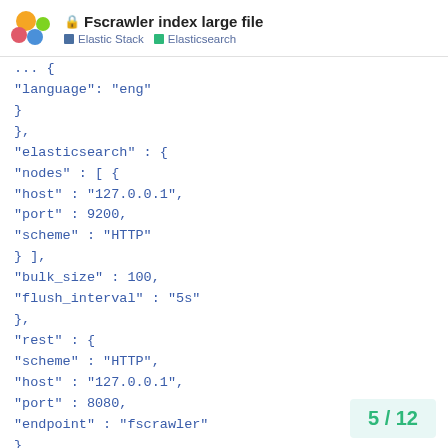Fscrawler index large file | Elastic Stack | Elasticsearch
... {
"language": "eng"
}
},
"elasticsearch" : {
"nodes" : [ {
"host" : "127.0.0.1",
"port" : 9200,
"scheme" : "HTTP"
} ],
"bulk_size" : 100,
"flush_interval" : "5s"
},
"rest" : {
"scheme" : "HTTP",
"host" : "127.0.0.1",
"port" : 8080,
"endpoint" : "fscrawler"
}
},
5 / 12